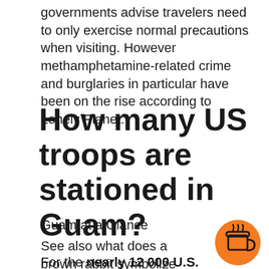governments advise travelers need to only exercise normal precautions when visiting. However methamphetamine-related crime and burglaries in particular have been on the rise according to Lonely Planet.
How many US troops are stationed in Guam?
Guam at a Glance
See also what does a brown rabbit symbolize
For the nearly 12 000 U.S. military-related personnel stationed there Guam is a place